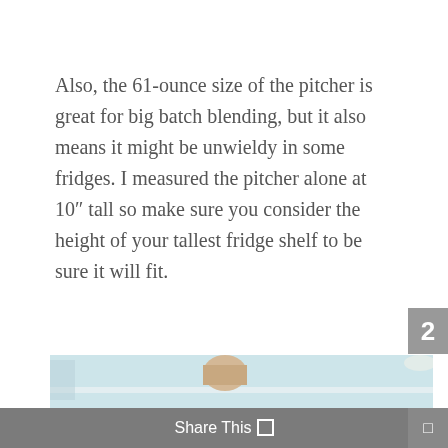Also, the 61-ounce size of the pitcher is great for big batch blending, but it also means it might be unwieldy in some fridges. I measured the pitcher alone at 10″ tall so make sure you consider the height of your tallest fridge shelf to be sure it will fit.
[Figure (photo): Photo of the inside of a refrigerator showing shelves with various items including bottles and containers, partially cropped at bottom of page.]
Share This